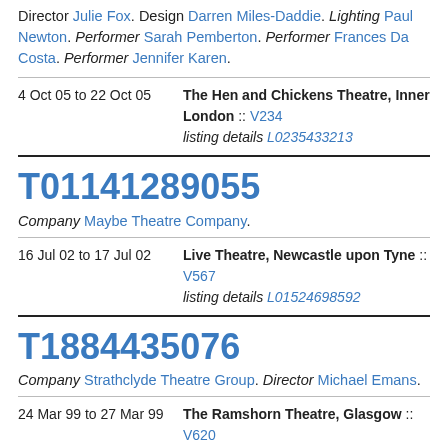Director Julie Fox. Design Darren Miles-Daddie. Lighting Paul Newton. Performer Sarah Pemberton. Performer Frances Da Costa. Performer Jennifer Karen.
| Date | Venue |
| --- | --- |
| 4 Oct 05 to 22 Oct 05 | The Hen and Chickens Theatre, Inner London :: V234 listing details L0235433213 |
T01141289055
Company Maybe Theatre Company.
| Date | Venue |
| --- | --- |
| 16 Jul 02 to 17 Jul 02 | Live Theatre, Newcastle upon Tyne :: V567 listing details L01524698592 |
T1884435076
Company Strathclyde Theatre Group. Director Michael Emans.
| Date | Venue |
| --- | --- |
| 24 Mar 99 to 27 Mar 99 | The Ramshorn Theatre, Glasgow :: V620 listing details L664964279 |